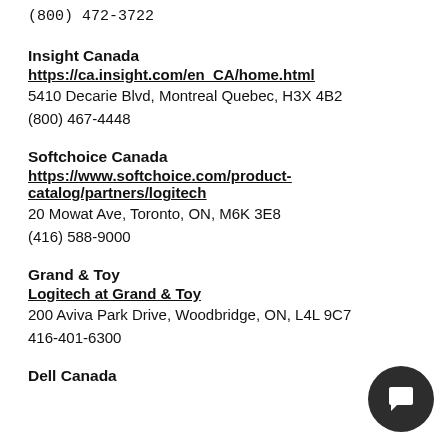(800) 472-3722
Insight Canada
https://ca.insight.com/en_CA/home.html
5410 Decarie Blvd, Montreal Quebec, H3X 4B2
(800) 467-4448
Softchoice Canada
https://www.softchoice.com/product-catalog/partners/logitech
20 Mowat Ave, Toronto, ON, M6K 3E8
(416) 588-9000
Grand & Toy
Logitech at Grand & Toy
200 Aviva Park Drive, Woodbridge, ON, L4L 9C7
416-401-6300
Dell Canada